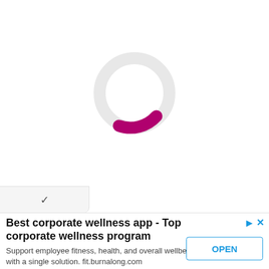[Figure (other): A circular loading spinner with a light gray ring and a dark pink/magenta arc segment in the lower-right portion, indicating a loading state on a white background.]
Best corporate wellness app - Top corporate wellness program
Support employee fitness, health, and overall wellbeing with a single solution. fit.burnalong.com